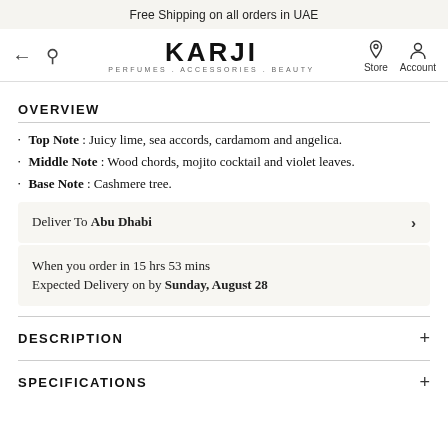Free Shipping on all orders in UAE
[Figure (logo): KARJI brand logo with tagline PERFUMES . ACCESSORIES . BEAUTY, navigation arrows, search icon, Store and Account icons]
OVERVIEW
Top Note : Juicy lime, sea accords, cardamom and angelica.
Middle Note : Wood chords, mojito cocktail and violet leaves.
Base Note : Cashmere tree.
Deliver To Abu Dhabi
When you order in 15 hrs 53 mins
Expected Delivery on by Sunday, August 28
DESCRIPTION
SPECIFICATIONS